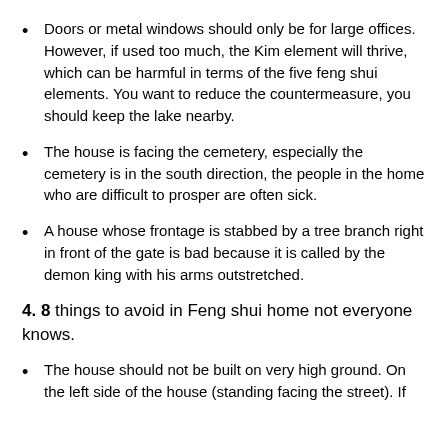Doors or metal windows should only be for large offices. However, if used too much, the Kim element will thrive, which can be harmful in terms of the five feng shui elements. You want to reduce the countermeasure, you should keep the lake nearby.
The house is facing the cemetery, especially the cemetery is in the south direction, the people in the home who are difficult to prosper are often sick.
A house whose frontage is stabbed by a tree branch right in front of the gate is bad because it is called by the demon king with his arms outstretched.
4. 8 things to avoid in Feng shui home not everyone knows.
The house should not be built on very high ground. On the left side of the house (standing facing the street). If